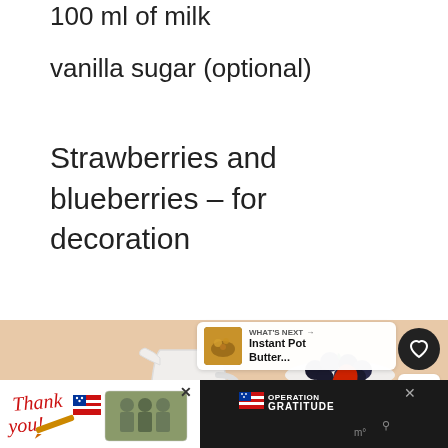100 ml of milk
vanilla sugar (optional)
Strawberries and blueberries – for decoration
[Figure (photo): Overhead photo on a peach/salmon background showing a white ceramic milk pitcher, a glass of milk, a large bowl of flour, a small bowl of blueberries and a strawberry, and a small white container. Heart/save icon (7 saves) and share icon on the right side. 'WHAT'S NEXT → Instant Pot Butter...' promo card overlay.]
[Figure (photo): Advertisement banner at bottom: 'Thank you!' with US flag imagery and Operation Gratitude logo on white background, with dark panel showing an X and temperature/settings icon on the right.]